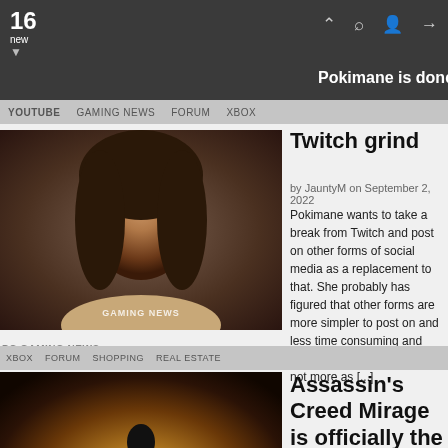16 new
Pokimane is done with the Twitch grind
by JauntyM on September 2, 2022
Pokimane wants to take a break from Twitch and post on other forms of social media as a replacement to that. She probably has figured that other forms are more simpler to post on and less time consuming and probably just as lucrative if not more as [...]
Assassin's Creed Mirage is officially the next Assassin's Creed game
by JauntyM on September 2, 2022
Now this has taken an interesting turn in the events as there were some rumors in the past that Assassin's Creed was coming up with a new game but now it is official as they have announced that they are working